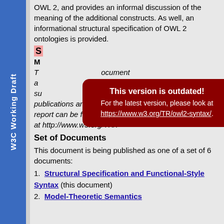W3C Working Draft
OWL 2, and provides an informal discussion of the meaning of the additional constructs. As well, an informational structural specification of OWL 2 ontologies is provided.
S[tatus of This Document]
M[essages]
This version is outdated! For the latest version, please look at https://www.w3.org/TR/owl2-syntax/.
T[his document] ... [ocument] a[...] [...] [...ents may] su[...] [...] W3C publications and the latest revision of this technical report can be found in the W3C technical reports index at http://www.w3.org/TR/.
Set of Documents
This document is being published as one of a set of 6 documents:
1. Structural Specification and Functional-Style Syntax (this document)
2. Model-Theoretic Semantics